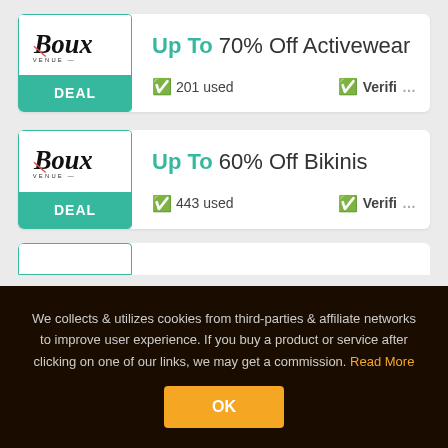[Figure (logo): Boux Avenue logo with DEAL button - card 1]
Up To 70% Off Activewear
201 used
Verified
[Figure (logo): Boux Avenue logo with DEAL button - card 2]
Up To 60% Off Bikinis
443 used
Verified
We collects & utilizes cookies from third-parties & affiliate networks to improve user experience. If you buy a product or service after clicking on one of our links, we may get a commission. Read More
OK